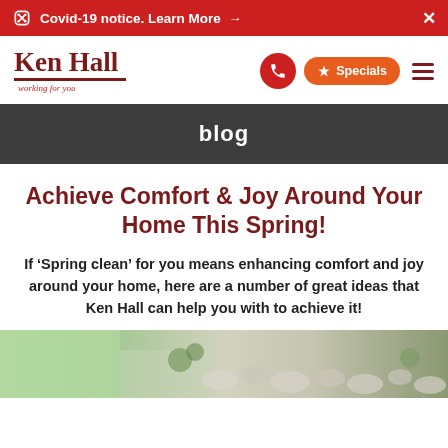Covid-19 notice. Learn More →  ×
[Figure (logo): Ken Hall logo with 'working for you' tagline, phone button, Specials button, and hamburger menu]
blog
Achieve Comfort & Joy Around Your Home This Spring!
If 'Spring clean' for you means enhancing comfort and joy around your home, here are a number of great ideas that Ken Hall can help you with to achieve it!
[Figure (photo): Partial image of a garden or outdoor area with green grass and stones/pebbles]